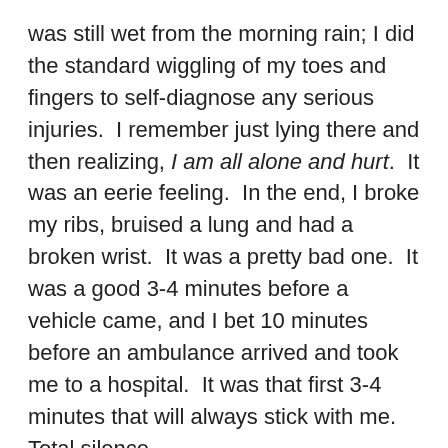was still wet from the morning rain; I did the standard wiggling of my toes and fingers to self-diagnose any serious injuries.  I remember just lying there and then realizing, I am all alone and hurt.  It was an eerie feeling.  In the end, I broke my ribs, bruised a lung and had a broken wrist.  It was a pretty bad one.  It was a good 3-4 minutes before a vehicle came, and I bet 10 minutes before an ambulance arrived and took me to a hospital.  It was that first 3-4 minutes that will always stick with me.  Total silence.
Once again, I now look back and realize how much I appreciate track volunteers in Canada.  We really don't thank them enough.
The ambulance ride had more action than a World